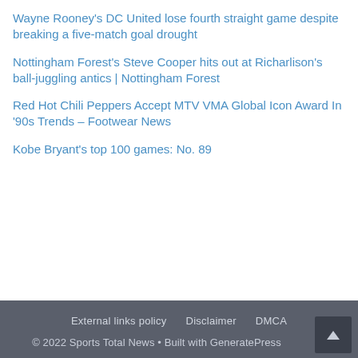Wayne Rooney's DC United lose fourth straight game despite breaking a five-match goal drought
Nottingham Forest's Steve Cooper hits out at Richarlison's ball-juggling antics | Nottingham Forest
Red Hot Chili Peppers Accept MTV VMA Global Icon Award In '90s Trends – Footwear News
Kobe Bryant's top 100 games: No. 89
External links policy   Disclaimer   DMCA
© 2022 Sports Total News • Built with GeneratePress